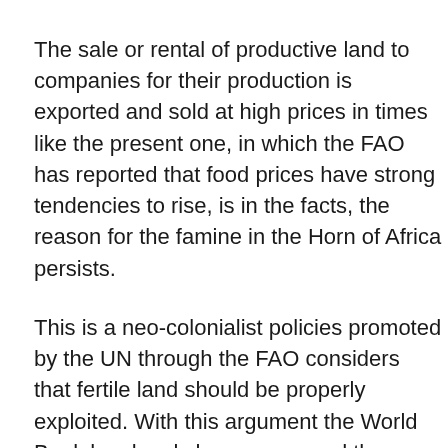The sale or rental of productive land to companies for their production is exported and sold at high prices in times like the present one, in which the FAO has reported that food prices have strong tendencies to rise, is in the facts, the reason for the famine in the Horn of Africa persists.
This is a neo-colonialist policies promoted by the UN through the FAO considers that fertile land should be properly exploited. With this argument the World Bank has legal changes opened the possibility that countries and large corporations to buy or lease large blocks of time for major production areas.
“India, Saudi Arabia and China are the first purchasers of land in Africa. But Kuwait, Qatar, Bahrain and companies in Sweden, Germany and UK, “claims a reporter. Likewise, the...